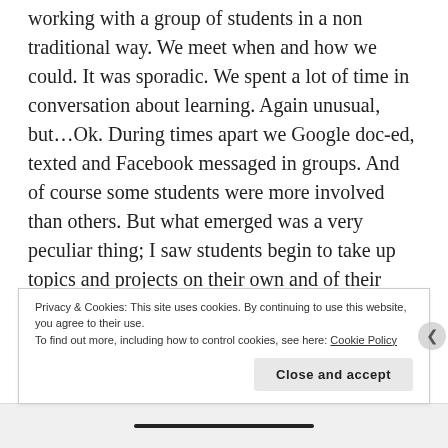working with a group of students in a non traditional way. We meet when and how we could. It was sporadic. We spent a lot of time in conversation about learning. Again unusual, but…Ok. During times apart we Google doc-ed, texted and Facebook messaged in groups. And of course some students were more involved than others. But what emerged was a very peculiar thing; I saw students begin to take up topics and projects on their own and of their own choosing. I began to see them differentiate themselves for themselves. For example one group took it upon themselves to write a poem and turn it into a video…over the summer.  Another took it upon
Privacy & Cookies: This site uses cookies. By continuing to use this website, you agree to their use.
To find out more, including how to control cookies, see here: Cookie Policy
Close and accept